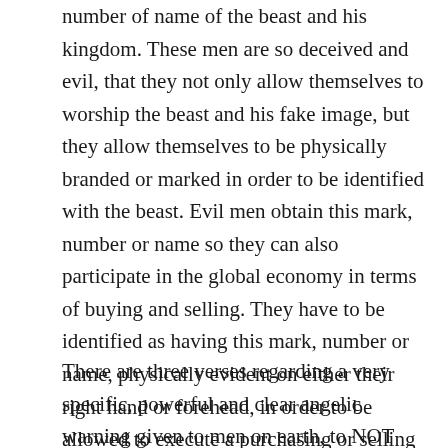number of name of the beast and his kingdom. These men are so deceived and evil, that they not only allow themselves to worship the beast and his fake image, but they allow themselves to be physically branded or marked in order to be identified with the beast. Evil men obtain this mark, number or name so they can also participate in the global economy in terms of buying and selling. They have to be identified as having this mark, number or name, physically evident on either their right hand or forehead, in order to be allowed to execute a purchasing or selling transaction. Once evil men worship the beast, his image and take his mark (or number, name, they are damned.
There are three verses regarding a very specific, powerful and clear angelic warning given to men on earth, to NOT worship the beast, or his image, or take